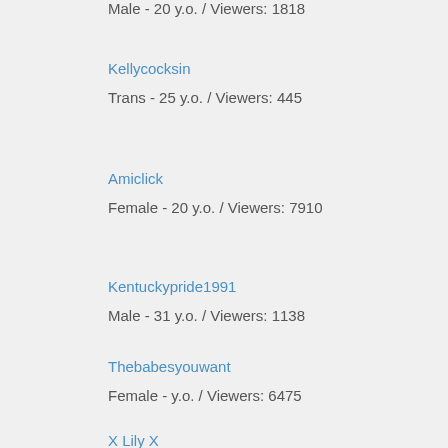Male - 20 y.o. / Viewers: 1818
Kellycocksin
Trans - 25 y.o. / Viewers: 445
Amiclick
Female - 20 y.o. / Viewers: 7910
Kentuckypride1991
Male - 31 y.o. / Viewers: 1138
Thebabesyouwant
Female - y.o. / Viewers: 6475
X Lily X